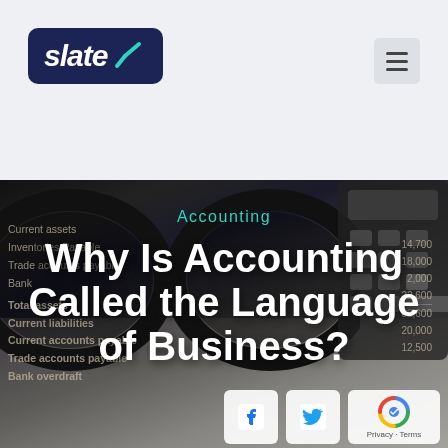slate
[Figure (photo): Background photo of black-rimmed glasses resting on financial documents/balance sheet with a calculator visible, overlaid with article title text. Dark moody tone with teal category label 'Accounting' and white bold headline 'Why Is Accounting Called the Language of Business?'. Social media icons (Facebook, Twitter) and reCAPTCHA widget visible at bottom right.]
Why Is Accounting Called the Language of Business?